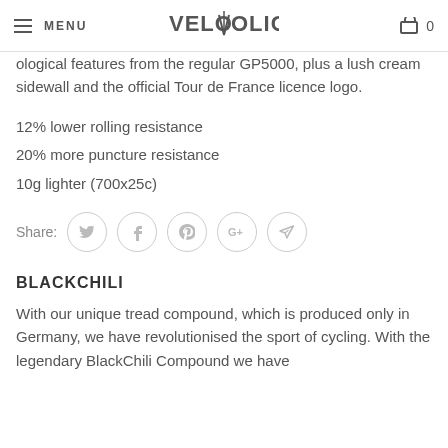MENU | VELOHOLIC | 0
ological features from the regular GP5000, plus a lush cream sidewall and the official Tour de France licence logo.
12% lower rolling resistance
20% more puncture resistance
10g lighter (700x25c)
Share:
BLACKCHILI
With our unique tread compound, which is produced only in Germany, we have revolutionised the sport of cycling. With the legendary BlackChili Compound we have